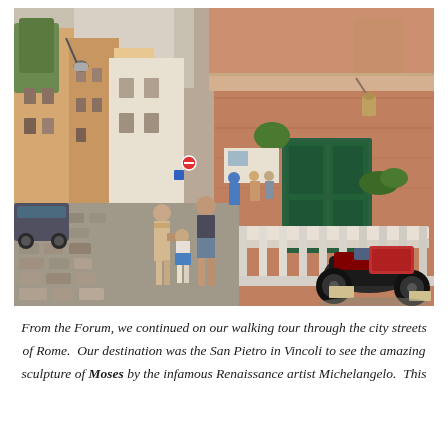[Figure (photo): A cobblestone street scene in Rome, Italy. On the left side are narrow multi-story buildings with warm terracotta and cream facades. People are walking down the street — a woman with a shoulder bag, a man in shorts, a child in a blue skirt. Parked cars and a van are visible on the left. On the right side is a large brick building with a green shuttered door, a wrought-iron wall lamp, and a white stone balustrade. A scooter/motorcycle is parked on the right foreground. Street signage is visible in the background.]
From the Forum, we continued on our walking tour through the city streets of Rome.  Our destination was the San Pietro in Vincoli to see the amazing sculpture of Moses by the infamous Renaissance artist Michelangelo.  This